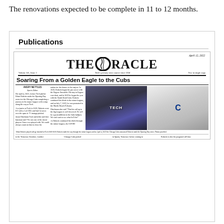The renovations expected to be complete in 11 to 12 months.
Publications
[Figure (screenshot): Screenshot of The Oracle newspaper front page dated April 12, 2022, with headline 'Soaring From a Golden Eagle to the Cubs' featuring photos of a baseball player in TECH uniform pitching and a player in Chicago Cubs uniform. The article is about Ethan Roberts, a former Tech pitcher who made the Opening Day roster for the Chicago Cubs.]